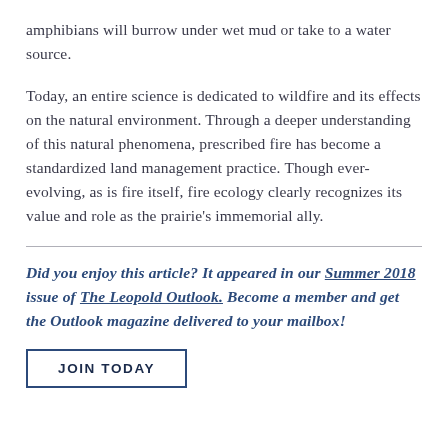amphibians will burrow under wet mud or take to a water source.
Today, an entire science is dedicated to wildfire and its effects on the natural environment. Through a deeper understanding of this natural phenomena, prescribed fire has become a standardized land management practice. Though ever-evolving, as is fire itself, fire ecology clearly recognizes its value and role as the prairie's immemorial ally.
Did you enjoy this article? It appeared in our Summer 2018 issue of The Leopold Outlook. Become a member and get the Outlook magazine delivered to your mailbox!
JOIN TODAY